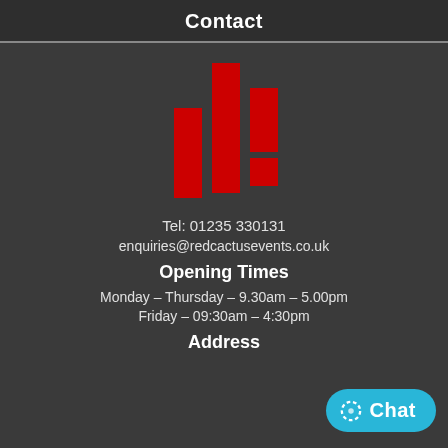Contact
[Figure (logo): Red Cactus Events logo: abstract red bar chart / cactus shape made of vertical red rectangles on dark background]
Tel: 01235 330131
enquiries@redcactusevents.co.uk
Opening Times
Monday – Thursday – 9.30am – 5.00pm
Friday – 09:30am – 4:30pm
Address